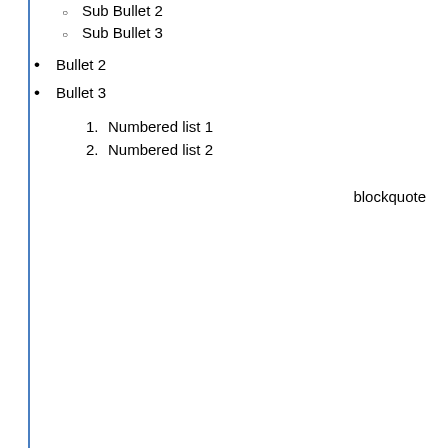Sub Bullet 2
Sub Bullet 3
Bullet 2
Bullet 3
Numbered list 1
Numbered list 2
blockquote